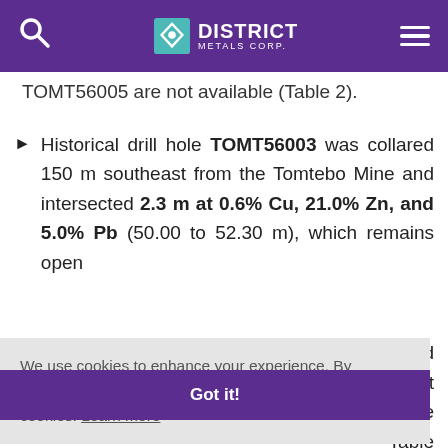District Metals Corp.
TOMT56005 are not available (Table 2).
Historical drill hole TOMT56003 was collared 150 m southeast from the Tomtebo Mine and intersected 2.3 m at 0.6% Cu, 21.0% Zn, and 5.0% Pb (50.00 to 52.30 m), which remains open gold not hole Table
We use cookies to enhance your experience. By continuing to visit this site you agree to our use of cookies. Learn more
Got it!
These drill results are historical in nature